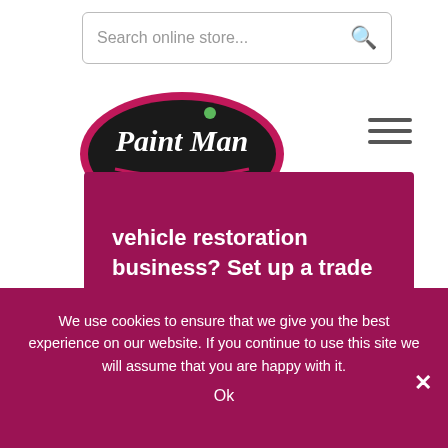[Figure (screenshot): Search bar with placeholder text 'Search online store...' and a search icon on the right]
[Figure (logo): Paint Man logo — oval shape with dark background, pink/magenta border, stylized cursive 'Paint Man' text in green/white]
[Figure (other): Hamburger menu icon — three horizontal lines]
vehicle restoration business? Set up a trade account with us today!
About Us
We use cookies to ensure that we give you the best experience on our website. If you continue to use this site we will assume that you are happy with it.
Ok